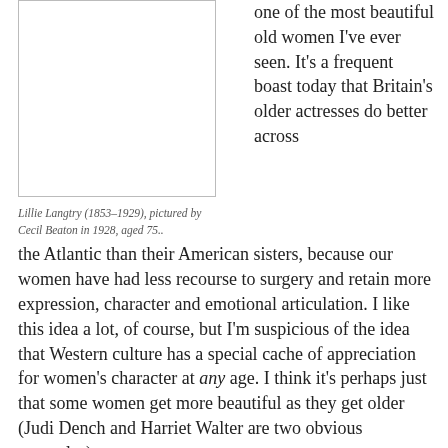[Figure (photo): A blank/white photo placeholder with a thin border, representing a photograph of Lillie Langtry]
Lillie Langtry (1853–1929), pictured by Cecil Beaton in 1928, aged 75..
one of the most beautiful old women I've ever seen. It's a frequent boast today that Britain's older actresses do better across the Atlantic than their American sisters, because our women have had less recourse to surgery and retain more expression, character and emotional articulation. I like this idea a lot, of course, but I'm suspicious of the idea that Western culture has a special cache of appreciation for women's character at any age. I think it's perhaps just that some women get more beautiful as they get older (Judi Dench and Harriet Walter are two obvious examples).